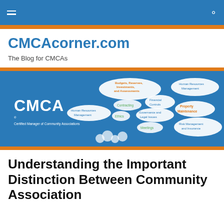CMCAcorner.com — navigation bar
CMCAcorner.com
The Blog for CMCAs
[Figure (infographic): CMCA banner image on blue background showing thought bubbles with topics: Budgets, Reserves, Investments, and Assessments; Human Resources Management; Financial Controls; Contracting; Property Maintenance; Governance and Legal Issues; Ethics; Meetings; Risk Management and Insurance; Human Resources Management. CMCA logo bottom left with text 'Certified Manager of Community Associations'.]
Understanding the Important Distinction Between Community Association